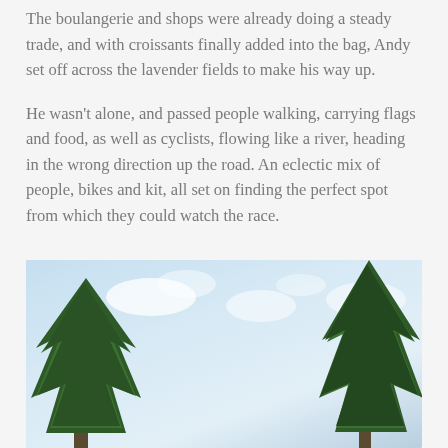The boulangerie and shops were already doing a steady trade, and with croissants finally added into the bag, Andy set off across the lavender fields to make his way up.
He wasn’t alone, and passed people walking, carrying flags and food, as well as cyclists, flowing like a river, heading in the wrong direction up the road. An eclectic mix of people, bikes and kit, all set on finding the perfect spot from which they could watch the race.
[Figure (photo): Outdoor photograph showing tall green pine trees on the left and right sides framing a blue sky with white clouds in the background.]